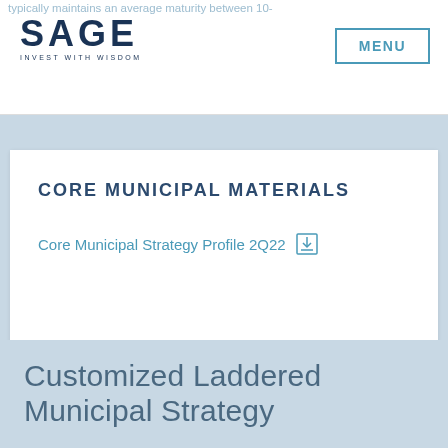typically maintains an average maturity between 10-
SAGE INVEST WITH WISDOM | MENU
CORE MUNICIPAL MATERIALS
Core Municipal Strategy Profile 2Q22
Customized Laddered Municipal Strategy